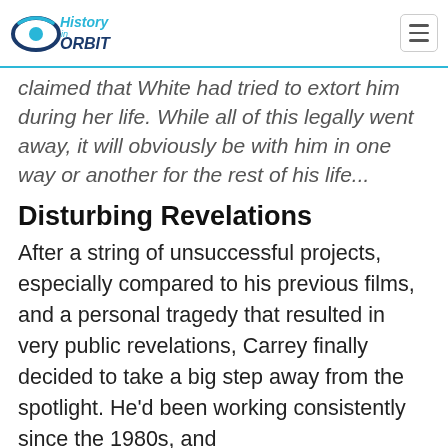History in Orbit
claimed that White had tried to extort him during her life. While all of this legally went away, it will obviously be with him in one way or another for the rest of his life...
Disturbing Revelations
After a string of unsuccessful projects, especially compared to his previous films, and a personal tragedy that resulted in very public revelations, Carrey finally decided to take a big step away from the spotlight. He'd been working consistently since the 1980s, and